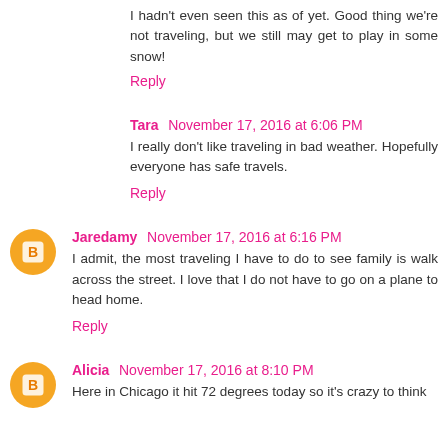I hadn't even seen this as of yet. Good thing we're not traveling, but we still may get to play in some snow!
Reply
Tara November 17, 2016 at 6:06 PM
I really don't like traveling in bad weather. Hopefully everyone has safe travels.
Reply
Jaredamy November 17, 2016 at 6:16 PM
I admit, the most traveling I have to do to see family is walk across the street. I love that I do not have to go on a plane to head home.
Reply
Alicia November 17, 2016 at 8:10 PM
Here in Chicago it hit 72 degrees today so it's crazy to think